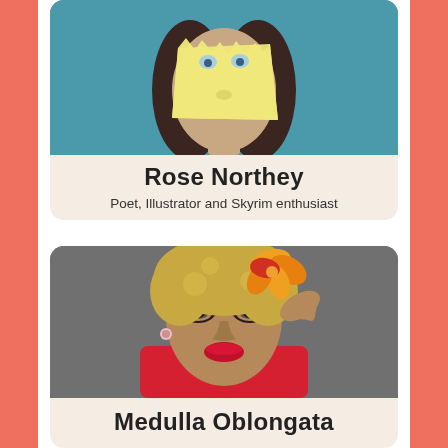[Figure (photo): Person with a yellow paper stuck to their face covering eyes and nose, blue background, dark hair]
Rose Northey
Poet, Illustrator and Skyrim enthusiast
[Figure (photo): Glamorous drag queen with curly blonde hair, large hibiscus flower, dramatic makeup, red lips, red jacket]
Medulla Oblongata